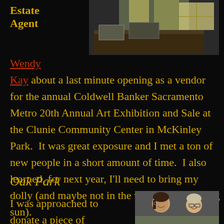Estate
Agent
[Figure (photo): Photo of an art exhibition booth with display cases, sunlight coming through windows]
Wendy Kay about a last minute opening as a vendor for the annual Coldwell Banker Sacramento Metro 20th Annual Art Exhibition and Sale at the Clunie Community Center in McKinley Park.  It was great exposure and I met a ton of new people in a short amount of time.  I also learned, for next year, I'll need to bring my dolly (and maybe not in the way of the blinding sun).
Oak Park
I was approached to donate a piece of
[Figure (photo): Photo of two smiling women at an event]